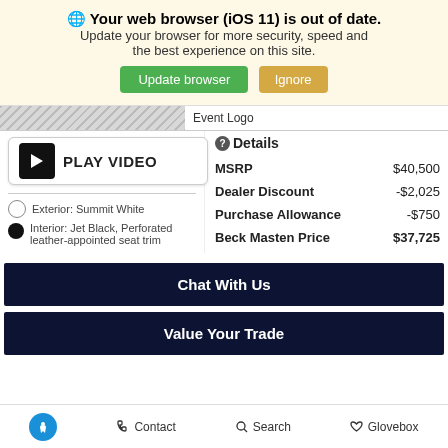Your web browser (iOS 11) is out of date. Update your browser for more security, speed and the best experience on this site. [Update browser] [Ignore]
[Figure (screenshot): Event logo stripe - grey textured banner]
Event Logo
[Figure (other): Play Video button - black icon with play triangle and PLAY VIDEO label]
Exterior: Summit White
Interior: Jet Black, Perforated leather-appointed seat trim
Details
|  |  |
| --- | --- |
| MSRP | $40,500 |
| Dealer Discount | -$2,025 |
| Purchase Allowance | -$750 |
| Beck Masten Price | $37,725 |
Chat With Us
Value Your Trade
Contact  Search  Glovebox